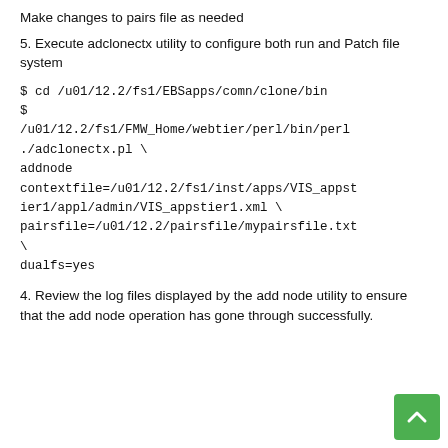Make changes to pairs file as needed
5. Execute adclonectx utility to configure both run and Patch file system
$ cd /u01/12.2/fs1/EBSapps/comn/clone/bin
$ /u01/12.2/fs1/FMW_Home/webtier/perl/bin/perl ./adclonectx.pl \
addnode
contextfile=/u01/12.2/fs1/inst/apps/VIS_appstier1/appl/admin/VIS_appstier1.xml \
pairsfile=/u01/12.2/pairsfile/mypairsfile.txt \
dualfs=yes
4. Review the log files displayed by the add node utility to ensure that the add node operation has gone through successfully.